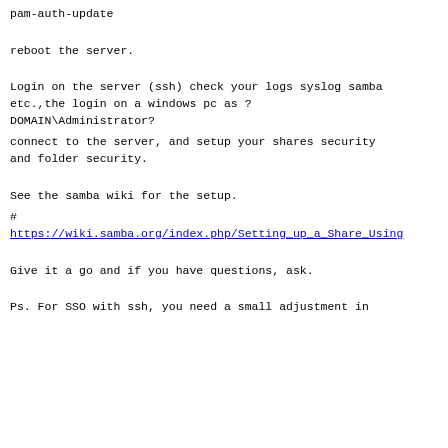pam-auth-update
reboot the server.
Login on the server (ssh) check your logs syslog samba etc.,the login on a windows pc as ?
DOMAIN\Administrator?
connect to the server, and setup your shares security and folder security.
See the samba wiki for the setup.
#
https://wiki.samba.org/index.php/Setting_up_a_Share_Using
Give it a go and if you have questions, ask.
Ps. For SSO with ssh, you need a small adjustment in